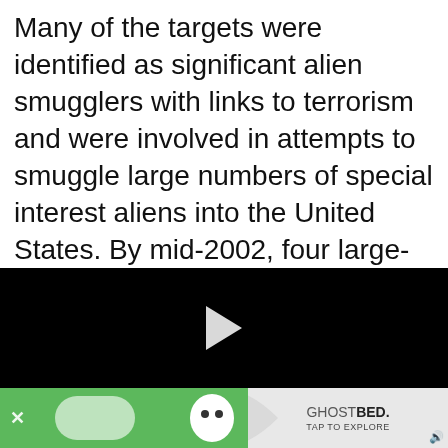Many of the targets were identified as significant alien smugglers with links to terrorism and were involved in attempts to smuggle large numbers of special interest aliens into the United States. By mid-2002, four large-scale alien smugglers had been
[Figure (screenshot): Black video player area with a white play button triangle in the center]
[Figure (screenshot): Advertisement bar with green background showing Waze ghost icon, a white blob, a close X button, and a GhostBed advertisement on the right with TAP TO EXPLORE text and a speaker icon]